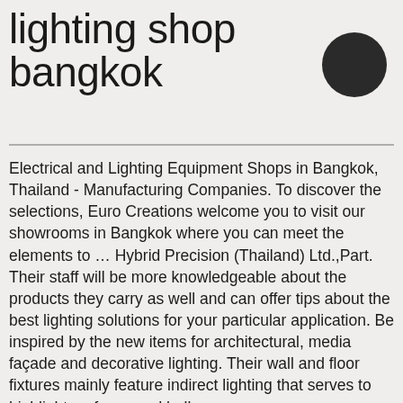lighting shop bangkok
Electrical and Lighting Equipment Shops in Bangkok, Thailand - Manufacturing Companies. To discover the selections, Euro Creations welcome you to visit our showrooms in Bangkok where you can meet the elements to … Hybrid Precision (Thailand) Ltd.,Part.
Their staff will be more knowledgeable about the products they carry as well and can offer tips about the best lighting solutions for your particular application. Be inspired by the new items for architectural, media façade and decorative lighting. Their wall and floor fixtures mainly feature indirect lighting that serves to highlight surfaces and hallways.
Lighting is also essential in terms of creating the mood and ambience of living space, so getting it right from the start is vital. is a Garment Factory in BKK, Bangkok, THAILAND.
539/2 Sri-Ayudhya Rd., Rajthevee, Bangkok 10400, Thailand.
539/2 Sri-Ayudhya Rd., Rajthevee, Bangkok 10400, Thailand.
Lighting House